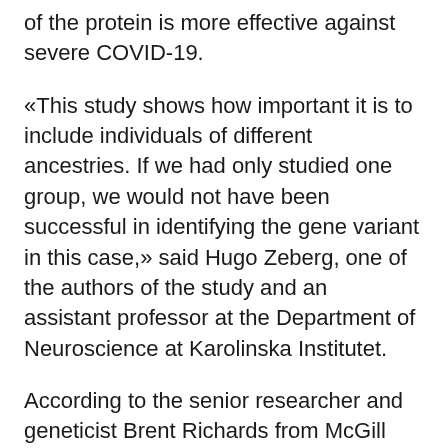of the protein is more effective against severe COVID-19.
«This study shows how important it is to include individuals of different ancestries. If we had only studied one group, we would not have been successful in identifying the gene variant in this case,» said Hugo Zeberg, one of the authors of the study and an assistant professor at the Department of Neuroscience at Karolinska Institutet.
According to the senior researcher and geneticist Brent Richards from McGill University in Canada, this study is «key to developing new drugs against COVID-19.»